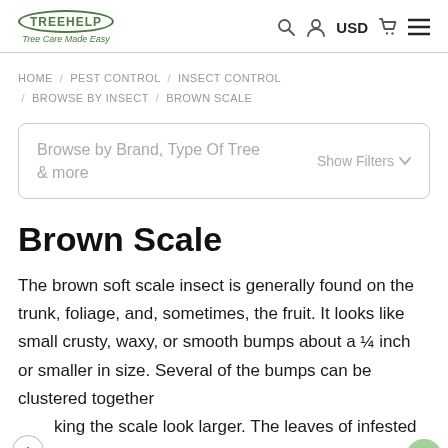TreeHelp.com — Tree Care Made Easy | USD
HOME / PEST CONTROL / INSECT CONTROL / BROWSE BY INSECT / BROWN SCALE
Browse by Brand, Type Of Tree & more   Show Filters
Brown Scale
The brown soft scale insect is generally found on the trunk, foliage, and, sometimes, the fruit. It looks like small crusty, waxy, or smooth bumps about a ¼ inch or smaller in size. Several of the bumps can be clustered together making the scale look larger. The leaves of infested trees